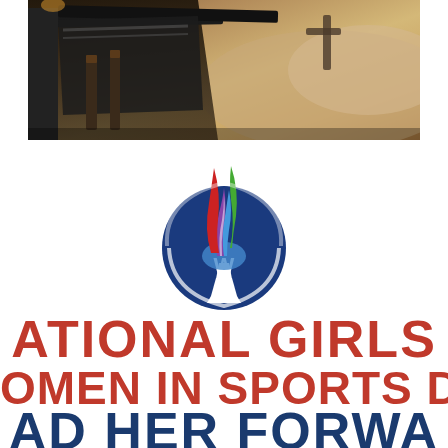[Figure (photo): Aerial/overhead view of a construction site showing concrete foundation forms and rebar set in sandy/dirt terrain. Dark form boards frame a rectangular excavation area with wooden stakes. Sandy soil visible around the perimeter.]
[Figure (logo): National Girls and Women in Sports Day logo: a blue circular emblem containing a torch/flame with multicolored flames (red, green, purple, blue/white) above a white torch cup, with the letters W visible. Below the circle is text reading NATIONAL GIRLS AND WOMEN IN SPORTS DAY and LEAD HER FORWARD in red and navy blue.]
ATIONAL GIRLS
OMEN IN SPORTS D
AD HER FORWA